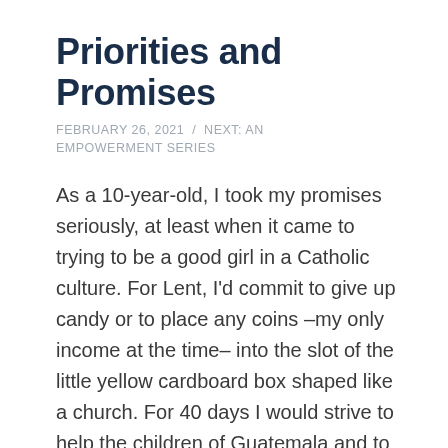Priorities and Promises
FEBRUARY 26, 2021  /  NEXT: AN EMPOWERMENT SERIES
As a 10-year-old, I took my promises seriously, at least when it came to trying to be a good girl in a Catholic culture. For Lent, I'd commit to give up candy or to place any coins –my only income at the time– into the slot of the little yellow cardboard box shaped like a church. For 40 days I would strive to help the children of Guatemala and to develop a form of discipline that today helps me to hold my promise to intermittently fast until